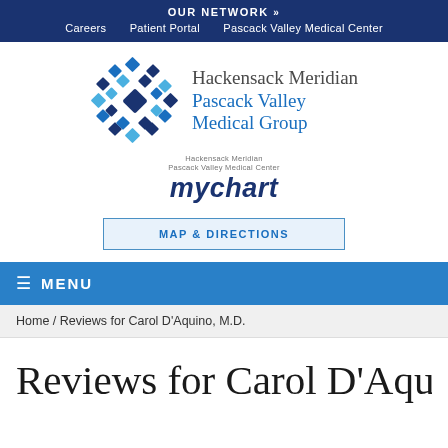OUR NETWORK »  Careers  Patient Portal  Pascack Valley Medical Center
[Figure (logo): Hackensack Meridian Pascack Valley Medical Group logo with blue mosaic diamond pattern and mychart branding]
MAP & DIRECTIONS
≡ MENU
Home / Reviews for Carol D'Aquino, M.D.
Reviews for Carol D'Aquino,